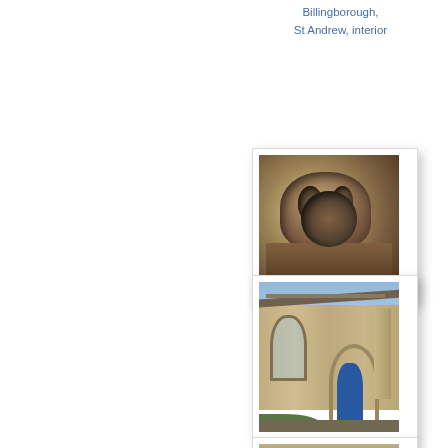Billingborough, St Andrew, interior
[Figure (photo): Stone carving detail from St Andrew church, Billingborough - close-up of architectural stonework showing carved faces or decorative corbel]
Billingborough, St Andrew, label stop
[Figure (photo): Exterior view of St Andrew church porch in Billingborough, showing Gothic arched entrance with blue door, stone walls and roof]
Billingborough, St Andrew, Porch
[Figure (photo): Partially visible photo at bottom of page, likely another view of Billingborough St Andrew church]